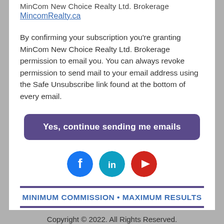MinCom New Choice Realty Ltd. Brokerage
MincomRealty.ca
By confirming your subscription you're granting MinCom New Choice Realty Ltd. Brokerage permission to email you. You can always revoke permission to send mail to your email address using the Safe Unsubscribe link found at the bottom of every email.
Yes, continue sending me emails
[Figure (infographic): Three social media icons: Facebook (blue circle with f), LinkedIn (cyan circle with in), YouTube (red circle with play button)]
MINIMUM COMMISSION • MAXIMUM RESULTS
Copyright © 2022. All Rights Reserved.